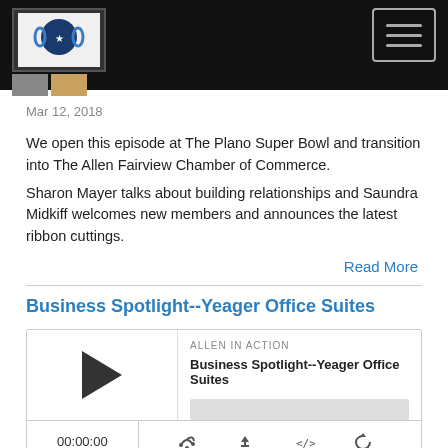Allen In Action podcast header with logo and hamburger menu
Mar 12, 2018
We open this episode at The Plano Super Bowl and transition into The Allen Fairview Chamber of Commerce.
Sharon Mayer talks about building relationships and Saundra Midkiff welcomes new members and announces the latest ribbon cuttings.
Read More
Business Spotlight--Yeager Office Suites
[Figure (screenshot): Podcast player widget showing 'ALLEN IN ACTION / Business Spotlight--Yeager Office Suites' with play button, progress bar, time 00:00:00, and control icons for RSS, download, embed, and share]